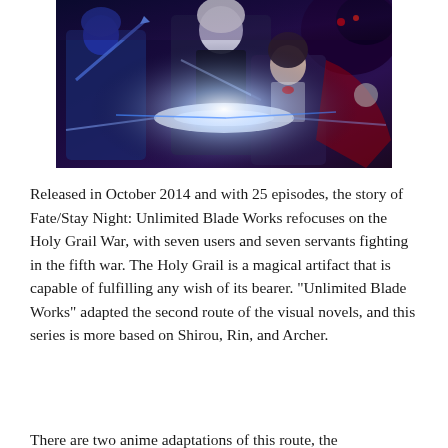[Figure (illustration): Anime illustration from Fate/Stay Night: Unlimited Blade Works showing multiple characters including a white-haired archer, a blue-haired lancer, and a female character with dark hair against a dark blue and red dramatic background with glowing light effects.]
Released in October 2014 and with 25 episodes, the story of Fate/Stay Night: Unlimited Blade Works refocuses on the Holy Grail War, with seven users and seven servants fighting in the fifth war. The Holy Grail is a magical artifact that is capable of fulfilling any wish of its bearer. "Unlimited Blade Works" adapted the second route of the visual novels, and this series is more based on Shirou, Rin, and Archer.
There are two anime adaptations of this route, the